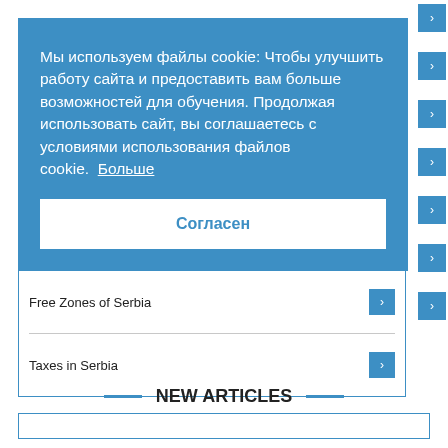Мы используем файлы cookie: Чтобы улучшить работу сайта и предоставить вам больше возможностей для обучения. Продолжая использовать сайт, вы соглашаетесь с условиями использования файлов cookie. Больше
Согласен
Free Zones of Serbia
Taxes in Serbia
NEW ARTICLES